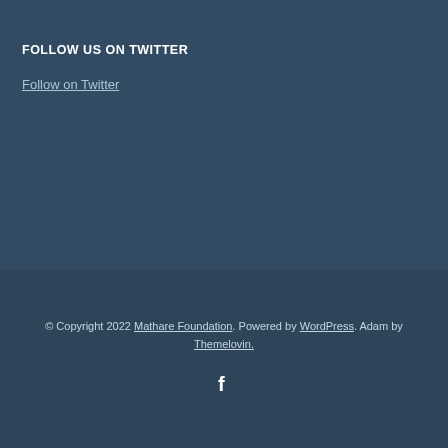FOLLOW US ON TWITTER
Follow on Twitter
© Copyright 2022 Mathare Foundation. Powered by WordPress. Adam by Themelovin.
[Figure (other): Facebook social media icon (letter f)]